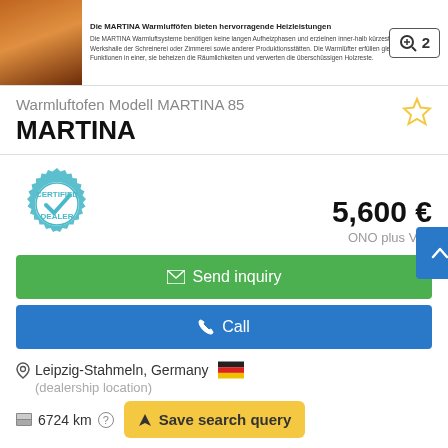[Figure (screenshot): Product image thumbnail with zoom badge showing '2']
Warmluftofen Modell MARTINA 85
MARTINA
[Figure (illustration): Certified Dealer badge/stamp in teal color with checkmark]
5,600 €
ONO plus VAT
Send inquiry
Call
Leipzig-Stahmeln, Germany
(dealership location)
6724 km
Save search query
new